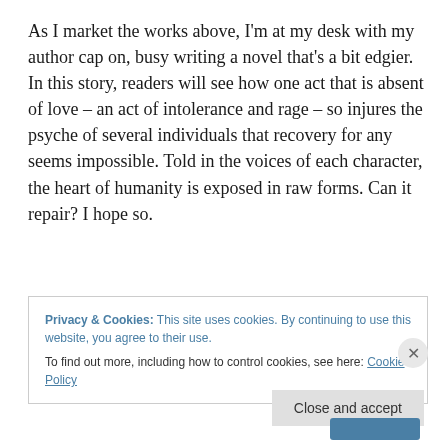As I market the works above, I'm at my desk with my author cap on, busy writing a novel that's a bit edgier. In this story, readers will see how one act that is absent of love – an act of intolerance and rage – so injures the psyche of several individuals that recovery for any seems impossible. Told in the voices of each character, the heart of humanity is exposed in raw forms. Can it repair? I hope so.
Privacy & Cookies: This site uses cookies. By continuing to use this website, you agree to their use. To find out more, including how to control cookies, see here: Cookie Policy